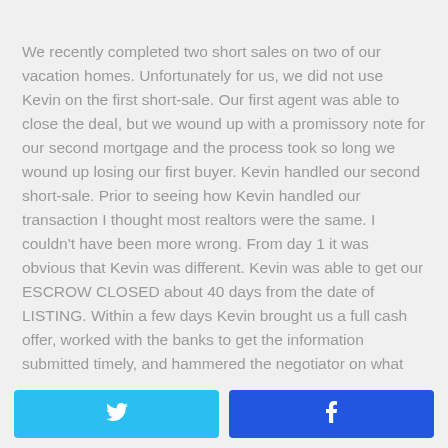We recently completed two short sales on two of our vacation homes. Unfortunately for us, we did not use Kevin on the first short-sale. Our first agent was able to close the deal, but we wound up with a promissory note for our second mortgage and the process took so long we wound up losing our first buyer. Kevin handled our second short-sale. Prior to seeing how Kevin handled our transaction I thought most realtors were the same. I couldn't have been more wrong. From day 1 it was obvious that Kevin was different. Kevin was able to get our ESCROW CLOSED about 40 days from the date of LISTING. Within a few days Kevin brought us a full cash offer, worked with the banks to get the information submitted timely, and hammered the negotiator on what
[Figure (other): Two social share buttons at the bottom: Twitter (light blue) and Facebook (dark blue), each with the respective logo icon in white.]